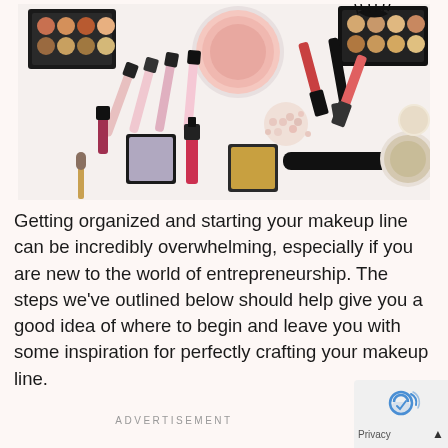[Figure (photo): Flat-lay photo of various makeup and cosmetic products on a white background, including eyeshadow palettes, lipsticks, lip glosses, mascara, blush, bronzer, and makeup brushes]
Getting organized and starting your makeup line can be incredibly overwhelming, especially if you are new to the world of entrepreneurship. The steps we've outlined below should help give you a good idea of where to begin and leave you with some inspiration for perfectly crafting your makeup line.
ADVERTISEMENT